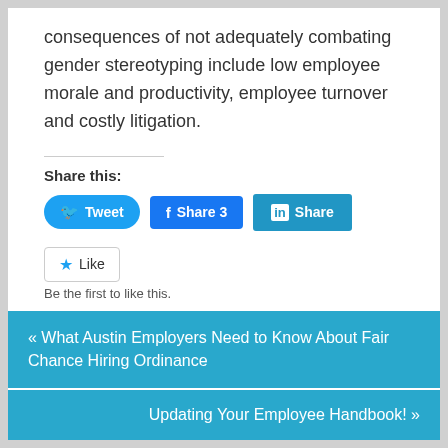consequences of not adequately combating gender stereotyping include low employee morale and productivity, employee turnover and costly litigation.
Share this:
[Figure (other): Social share buttons: Tweet (Twitter), Share 3 (Facebook), Share (LinkedIn)]
[Figure (other): Like button with star icon. Text: Be the first to like this.]
« What Austin Employers Need to Know About Fair Chance Hiring Ordinance
Updating Your Employee Handbook! »